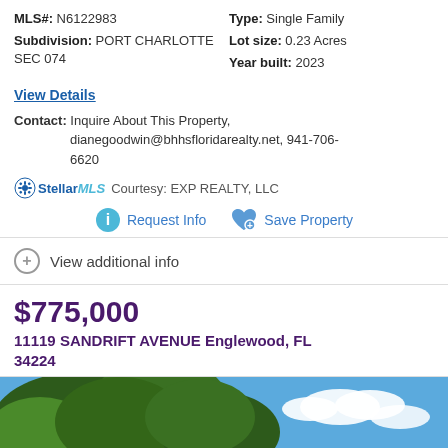MLS#: N6122983   Type: Single Family
Subdivision: PORT CHARLOTTE SEC 074   Lot size: 0.23 Acres
Year built: 2023
View Details
Contact: Inquire About This Property, dianegoodwin@bhhsfloridarealty.net, 941-706-6620
Courtesy: EXP REALTY, LLC
Request Info   Save Property
View additional info
$775,000
11119 SANDRIFT AVENUE Englewood, FL 34224
[Figure (photo): Outdoor photo showing trees with green foliage against a blue sky with white clouds]